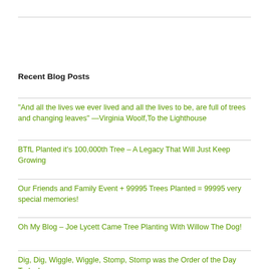Recent Blog Posts
"And all the lives we ever lived and all the lives to be, are full of trees and changing leaves" —Virginia Woolf,To the Lighthouse
BTfL Planted it's 100,000th Tree – A Legacy That Will Just Keep Growing
Our Friends and Family Event + 99995 Trees Planted = 99995 very special memories!
Oh My Blog – Joe Lycett Came Tree Planting With Willow The Dog!
Dig, Dig, Wiggle, Wiggle, Stomp, Stomp was the Order of the Day Today!